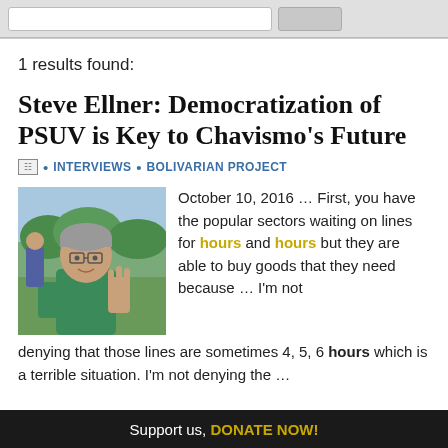[Search bar and button]
1 results found:
Steve Ellner: Democratization of PSUV is Key to Chavismo's Future
INTERVIEWS • BOLIVARIAN PROJECT
[Figure (photo): Photo of Steve Ellner, an older man with glasses wearing a green shirt, gesturing with his hand outdoors.]
October 10, 2016 … First, you have the popular sectors waiting on lines for hours and hours but they are able to buy goods that they need because … I'm not denying that those lines are sometimes 4, 5, 6 hours which is a terrible situation. I'm not denying the …
Support us, DONATE NOW!